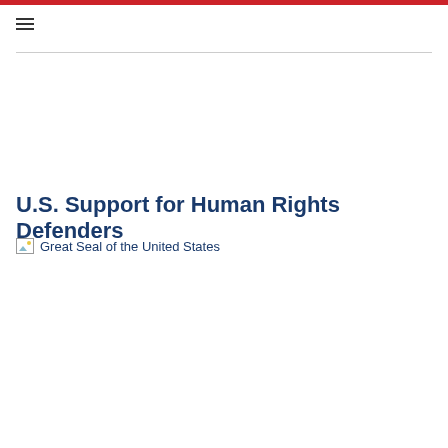U.S. Support for Human Rights Defenders
[Figure (illustration): Great Seal of the United States (broken image placeholder with alt text)]